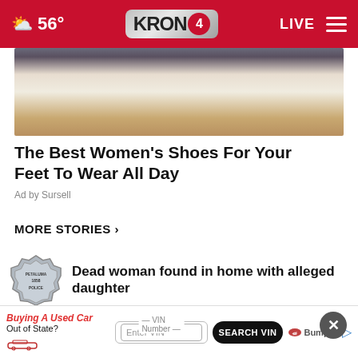KRON 4 — 56° — LIVE
[Figure (photo): Close-up photo of women's white slip-on shoes with decorative striped and studded details on a dark background]
The Best Women's Shoes For Your Feet To Wear All Day
Ad by Sursell
MORE STORIES ›
Dead woman found in home with alleged daughter
Police staffing concerns in San Jose
[Figure (screenshot): Bumper ad banner: Buying A Used Car Out of State? VIN Number — Enter VIN — SEARCH VIN button]